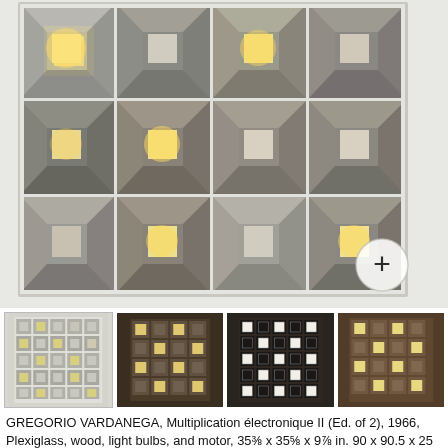[Figure (photo): Main photograph of Gregorio Vardanega's 'Multiplication électronique II' — a large white grid-framed panel with 12 visible square recessed cells (3 rows × 4 columns), each containing a smaller diamond/pyramidal reflective element. Several cells are lit with warm yellow-orange light. A circular '+' magnify button appears at lower right. The artwork sits on a white surface against a white/light background.]
[Figure (photo): Thumbnail strip of 4 smaller images of the same artwork: (1) light gray overall view showing a 5×5 grid, (2) dark-background view showing the grid with lit and unlit cells, (3) close-up dark view with high-contrast lit squares in a 4×4 grid, (4) warm-toned lit view of the grid.]
GREGORIO VARDANEGA, Multiplication électronique II (Ed. of 2), 1966, Plexiglass, wood, light bulbs, and motor, 35⅜ x 35⅝ x 9⅞ in. 90 x 90.5 x 25 cm.